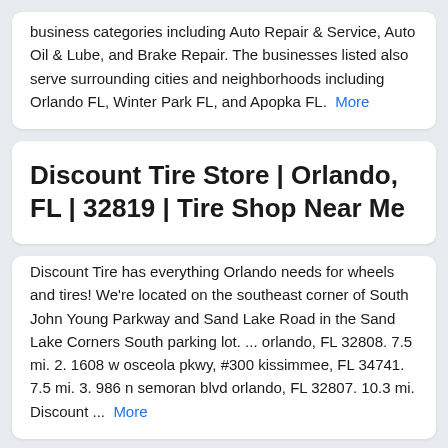business categories including Auto Repair & Service, Auto Oil & Lube, and Brake Repair. The businesses listed also serve surrounding cities and neighborhoods including Orlando FL, Winter Park FL, and Apopka FL. More
Discount Tire Store | Orlando, FL | 32819 | Tire Shop Near Me
Discount Tire has everything Orlando needs for wheels and tires! We're located on the southeast corner of South John Young Parkway and Sand Lake Road in the Sand Lake Corners South parking lot. ... orlando, FL 32808. 7.5 mi. 2. 1608 w osceola pkwy, #300 kissimmee, FL 34741. 7.5 mi. 3. 986 n semoran blvd orlando, FL 32807. 10.3 mi. Discount ... More